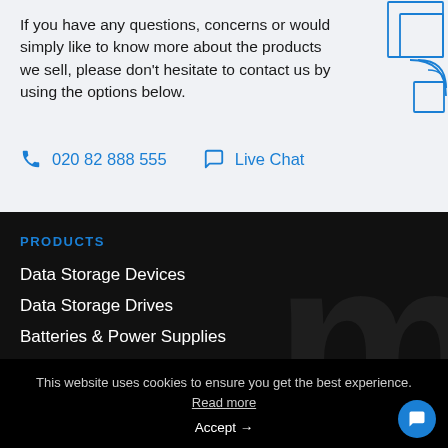If you have any questions, concerns or would simply like to know more about the products we sell, please don't hesitate to contact us by using the options below.
020 82 888 555
Live Chat
PRODUCTS
Data Storage Devices
Data Storage Drives
Batteries & Power Supplies
This website uses cookies to ensure you get the best experience. Read more
Accept →